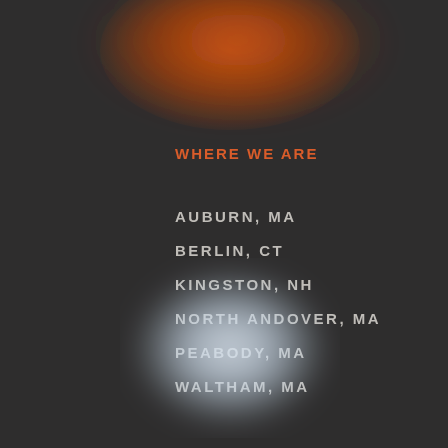WHERE WE ARE
AUBURN, MA
BERLIN, CT
KINGSTON, NH
NORTH ANDOVER, MA
PEABODY, MA
WALTHAM, MA
PROUD MEMBERS OF NARI
[Figure (other): Blurred white/light blue logo or emblem — NARI membership badge (blurred/obscured)]